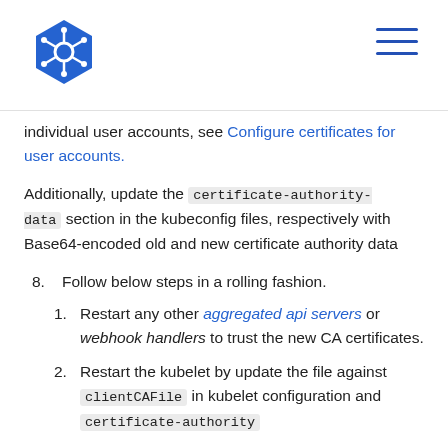Kubernetes logo and navigation menu
individual user accounts, see Configure certificates for user accounts.
Additionally, update the certificate-authority-data section in the kubeconfig files, respectively with Base64-encoded old and new certificate authority data
8. Follow below steps in a rolling fashion.
1. Restart any other aggregated api servers or webhook handlers to trust the new CA certificates.
2. Restart the kubelet by update the file against clientCAFile in kubelet configuration and certificate authority